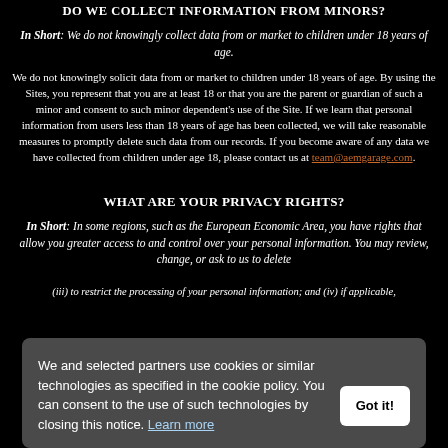DO WE COLLECT INFORMATION FROM MINORS?
In Short: We do not knowingly collect data from or market to children under 18 years of age.
We do not knowingly solicit data from or market to children under 18 years of age. By using the Sites, you represent that you are at least 18 or that you are the parent or guardian of such a minor and consent to such minor dependent's use of the Site. If we learn that personal information from users less than 18 years of age has been collected, we will take reasonable measures to promptly delete such data from our records. If you become aware of any data we have collected from children under age 18, please contact us at team@aemgarage.com.
WHAT ARE YOUR PRIVACY RIGHTS?
In Short: In some regions, such as the European Economic Area, you have rights that allow you greater access to and control over your personal information. You may review, change, or ask to us to delete your personal information at any time.
(iii) to restrict the processing of your personal information; and (iv) if applicable,
We and selected partners use cookies or similar technologies as specified in the cookie policy. You can consent to the use of such technologies by closing this notice. Learn more